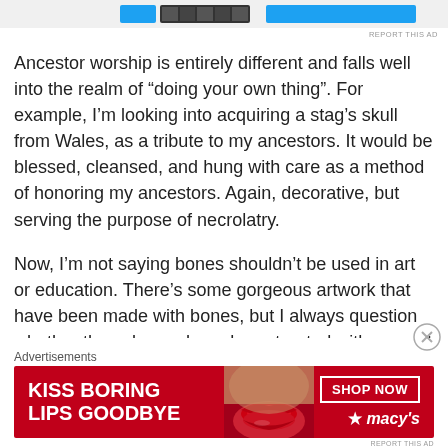[Figure (other): Top advertisement banner with blue and dark buttons]
Ancestor worship is entirely different and falls well into the realm of “doing your own thing”. For example, I’m looking into acquiring a stag’s skull from Wales, as a tribute to my ancestors. It would be blessed, cleansed, and hung with care as a method of honoring my ancestors. Again, decorative, but serving the purpose of necrolatry.
Now, I’m not saying bones shouldn’t be used in art or education. There’s some gorgeous artwork that have been made with bones, but I always question whether those bones have been treated with respect and ethically sourced before really giving in to admiring them. And, outside of writing, I’m not an artist so I can’t really express a thorough opinion on that topic. I know it’s somewhat controversial but a ridiculously
Advertisements
[Figure (photo): Macy's advertisement banner: KISS BORING LIPS GOODBYE with SHOP NOW button and Macy's star logo, red background with woman's lips]